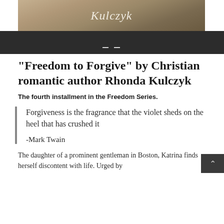[Figure (photo): Partial book cover image showing a script/cursive text reading 'Kulczyk' over a sepia-toned background with a figure in period clothing]
[Figure (other): Dark navigation bar with hamburger menu icon (three horizontal lines)]
"Freedom to Forgive" by Christian romantic author Rhonda Kulczyk
The fourth installment in the Freedom Series.
Forgiveness is the fragrance that the violet sheds on the heel that has crushed it

-Mark Twain
The daughter of a prominent gentleman in Boston, Katrina finds herself discontent with life. Urged by